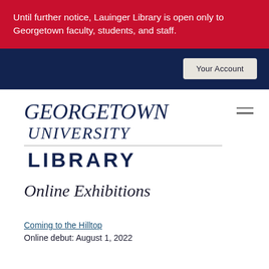Until further notice, Lauinger Library is open only to Georgetown faculty, students, and staff.
Your Account
[Figure (logo): Georgetown University Library logo with italic wordmark and bold LIBRARY text]
Online Exhibitions
Coming to the Hilltop
Online debut: August 1, 2022